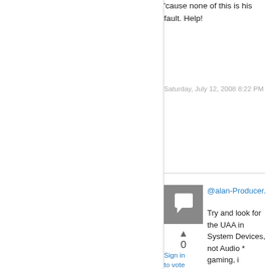'cause none of this is his fault. Help!
Saturday, July 12, 2008 8:22 PM
[Figure (other): Gray square avatar icon with white speech bubble symbol]
0
Sign in to vote
@alan-Producer.
Try and look for the UAA in System Devices, not Audio * gaming, i disabled, removed, then updated the drivers with the file